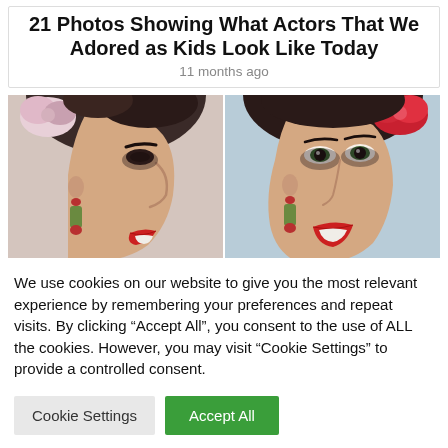21 Photos Showing What Actors That We Adored as Kids Look Like Today
11 months ago
[Figure (photo): Two side-by-side close-up photos of a woman with red lipstick, dramatic eye makeup, and red floral hair accessories. Both photos show her in a three-quarter profile view.]
We use cookies on our website to give you the most relevant experience by remembering your preferences and repeat visits. By clicking “Accept All”, you consent to the use of ALL the cookies. However, you may visit “Cookie Settings” to provide a controlled consent.